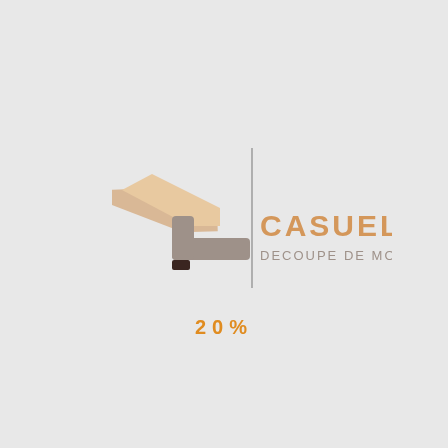[Figure (logo): Casuel Decoupe de Mousse logo — a stylized lounge chair shape in beige/tan and gray with a vertical black dividing line, company name CASUEL in orange-tan uppercase letters, subtitle DECOUPE DE MOUSSE in gray uppercase letters]
20%